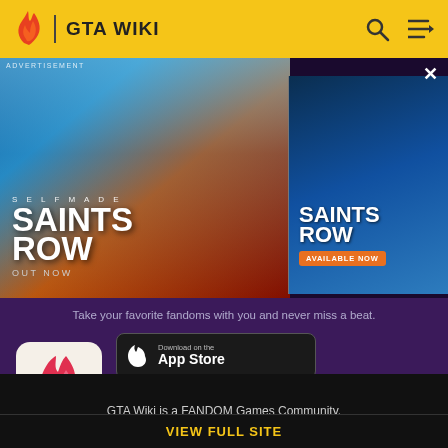GTA WIKI
[Figure (photo): Saints Row video game advertisement showing action scene with cars and characters. Left panel: SELF MADE / SAINTS ROW / OUT NOW. Right panel: Saints Row character, AVAILABLE NOW button.]
Take your favorite fandoms with you and never miss a beat.
[Figure (logo): Fandom app icon - flame/heart logo on cream background]
Download on the App Store
GET IT ON Google Play
GTA Wiki is a FANDOM Games Community.
VIEW FULL SITE